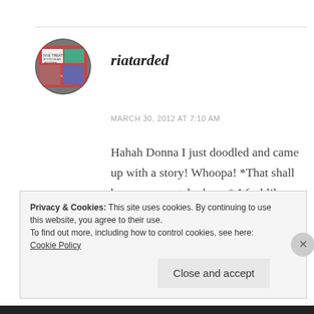[Figure (photo): Circular avatar profile image showing a colorful sign/protest scene]
riatarded
MARCH 30, 2012 AT 7:10 AM
Hahah Donna I just doodled and came up with a story! Whoopa! *That shall be my new catch phrase* I feel like a ninja!

It will be awesome if you could take part and tell your friends to! Stay awesome!
Privacy & Cookies: This site uses cookies. By continuing to use this website, you agree to their use.
To find out more, including how to control cookies, see here: Cookie Policy
Close and accept